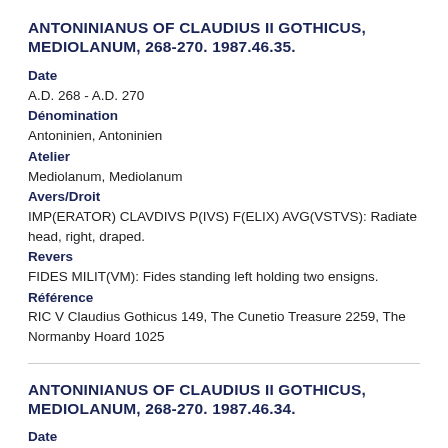ANTONINIANUS OF CLAUDIUS II GOTHICUS, MEDIOLANUM, 268-270. 1987.46.35.
Date
A.D. 268 - A.D. 270
Dénomination
Antoninien, Antoninien
Atelier
Mediolanum, Mediolanum
Avers/Droit
IMP(ERATOR) CLAVDIVS P(IVS) F(ELIX) AVG(VSTVS): Radiate head, right, draped.
Revers
FIDES MILIT(VM): Fides standing left holding two ensigns.
Référence
RIC V Claudius Gothicus 149, The Cunetio Treasure 2259, The Normanby Hoard 1025
ANTONINIANUS OF CLAUDIUS II GOTHICUS, MEDIOLANUM, 268-270. 1987.46.34.
Date